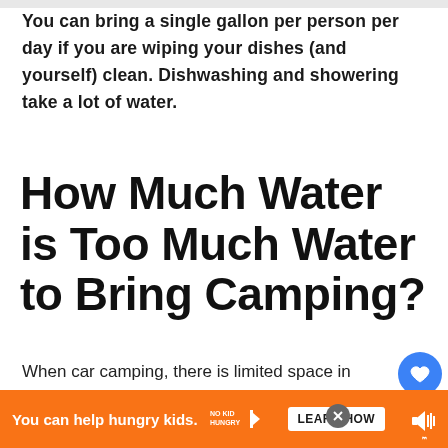You can bring a single gallon per person per day if you are wiping your dishes (and yourself) clean. Dishwashing and showering take a lot of water.
How Much Water is Too Much Water to Bring Camping?
When car camping, there is limited space in your vehicle so adding large containers of water could be an issue if you don't plan and pack according. Depending on how many people you have in your ve...
You can help hungry kids. NO KID HUNGRY LEARN HOW